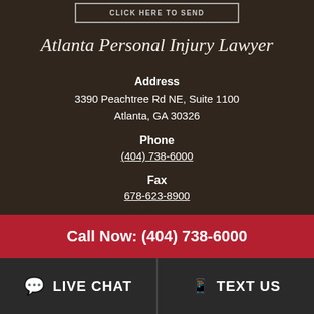CLICK HERE TO SEND
Atlanta Personal Injury Lawyer
Address
3390 Peachtree Rd NE, Suite 1100
Atlanta, GA 30326
Phone
(404) 738-6000
Fax
678-623-8900
Montgomery Personal Injury Lawyer
Address
Call Now: (404) 738-6000
LIVE CHAT
TEXT US